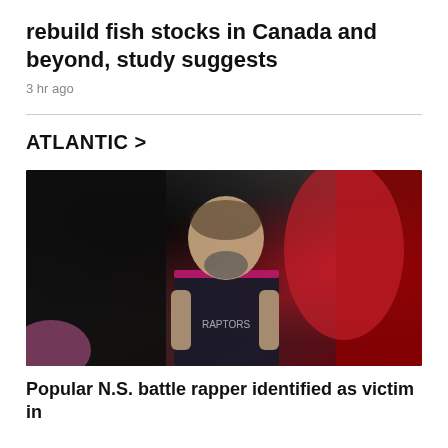rebuild fish stocks in Canada and beyond, study suggests
3 hr ago
ATLANTIC >
[Figure (photo): A bald man with a beard and tattoos wearing a black and pink basketball jersey, photographed against a dark background with red lighting]
Popular N.S. battle rapper identified as victim in